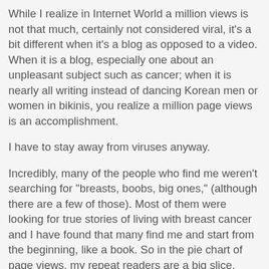While I realize in Internet World a million views is not that much, certainly not considered viral, it's a bit different when it's a blog as opposed to a video.  When it is a blog, especially one about an unpleasant subject such as cancer; when it is nearly all writing instead of dancing Korean men or women in bikinis, you realize a million page views is an accomplishment.
I have to stay away from viruses anyway.
Incredibly, many of the people who find me weren't searching for "breasts, boobs, big ones," (although there are a few of those).  Most of them were looking for true stories of living with breast cancer and I have found that many find me and start from the beginning, like a book.  So in the pie chart of page views, my repeat readers are a big slice.
I feel like I should be giving an academy award speech or something.   "I'd like to thank my computer for never crapping out on me while I'm in the middle of a thought, I'd like to thank my desk with the view of the yard that gives me something to look at while thinking…"